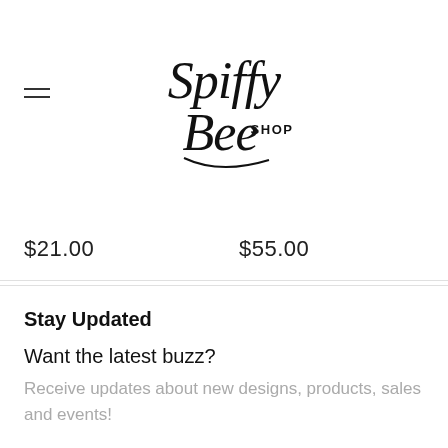[Figure (logo): Spiffy Bee Shop handwritten script logo]
$21.00    $55.00
Stay Updated
Want the latest buzz?
Receive updates about new designs, products, sales and events!
Email